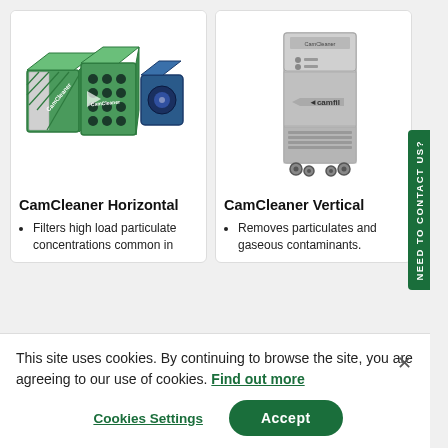[Figure (illustration): CamCleaner Horizontal air filtration unit — green modular box units shown in exploded/assembled view]
[Figure (illustration): CamCleaner Vertical air filtration unit — tall grey cabinet on wheels with Camfil branding]
CamCleaner Horizontal
CamCleaner Vertical
Filters high load particulate concentrations common in
Removes particulates and gaseous contaminants.
This site uses cookies. By continuing to browse the site, you are agreeing to our use of cookies. Find out more
Cookies Settings
Accept